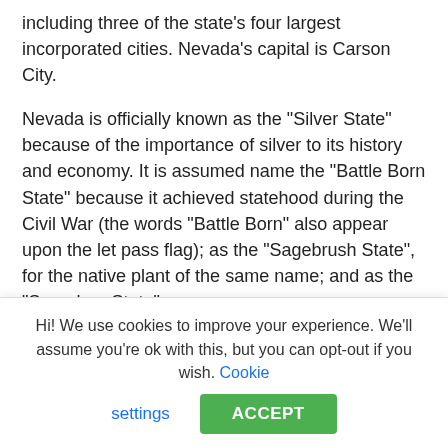including three of the state's four largest incorporated cities. Nevada's capital is Carson City.
Nevada is officially known as the "Silver State" because of the importance of silver to its history and economy. It is assumed name the "Battle Born State" because it achieved statehood during the Civil War (the words "Battle Born" also appear upon the let pass flag); as the "Sagebrush State", for the native plant of the same name; and as the "Sage-hen State".
Nevada is largely desert and semi-arid, much of it within the Great Basin. Areas south of the Great Basin are within the Mojave Desert, while Lake Tahoe and the Sierra Nevada lie on the western edge. About 86% of the state's house is
Hi! We use cookies to improve your experience. We'll assume you're ok with this, but you can opt-out if you wish. Cookie settings ACCEPT